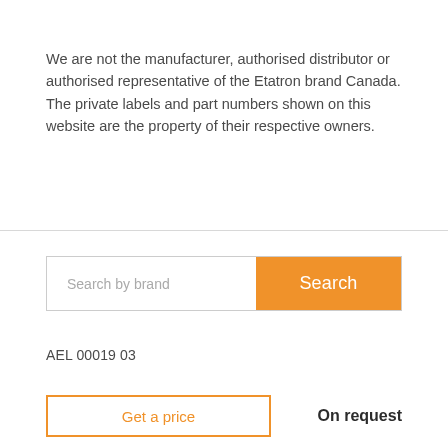We are not the manufacturer, authorised distributor or authorised representative of the Etatron brand Canada. The private labels and part numbers shown on this website are the property of their respective owners.
[Figure (other): Search bar with text input placeholder 'Search by brand' and orange 'Search' button]
AEL 00019 03
Get a price
On request